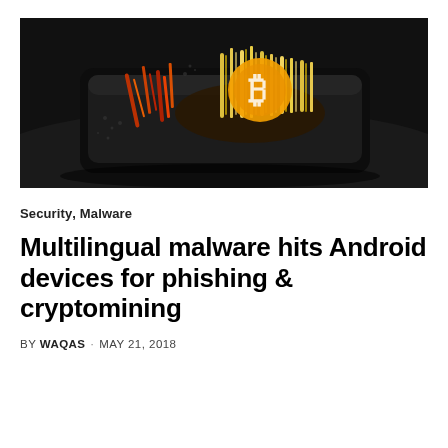[Figure (photo): A smartphone lying flat on a dark surface with dramatic digital art showing a Bitcoin symbol made of orange and yellow crystalline/noodle-like structures erupting from the phone screen, against a dark background.]
Security, Malware
Multilingual malware hits Android devices for phishing & cryptomining
BY WAQAS · MAY 21, 2018